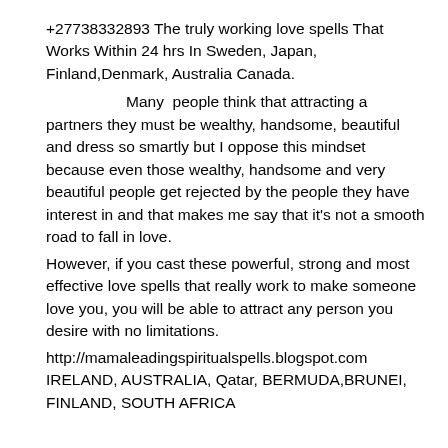+27738332893 The truly working love spells That Works Within 24 hrs In Sweden, Japan, Finland,Denmark, Australia Canada.

   Many  people think that attracting a partners they must be wealthy, handsome, beautiful and dress so smartly but I oppose this mindset because even those wealthy, handsome and very beautiful people get rejected by the people they have interest in and that makes me say that it's not a smooth road to fall in love.
However, if you cast these powerful, strong and most effective love spells that really work to make someone love you, you will be able to attract any person you desire with no limitations.
http://mamaleadingspiritualspells.blogspot.com IRELAND, AUSTRALIA, Qatar, BERMUDA,BRUNEI, FINLAND, SOUTH AFRICA